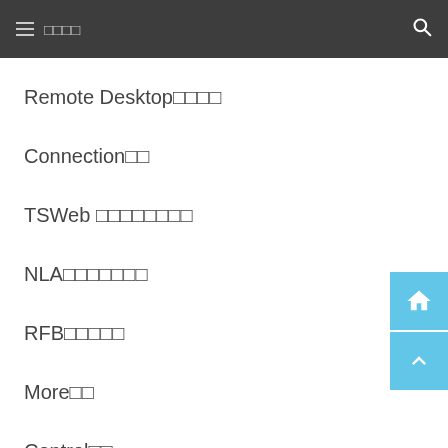≡ □□□□
Remote Desktop□□□□
Connection□□
TSWeb □□□□□□□□
NLA□□□□□□□
RFB□□□□□
More□□
Control□□
Format□□